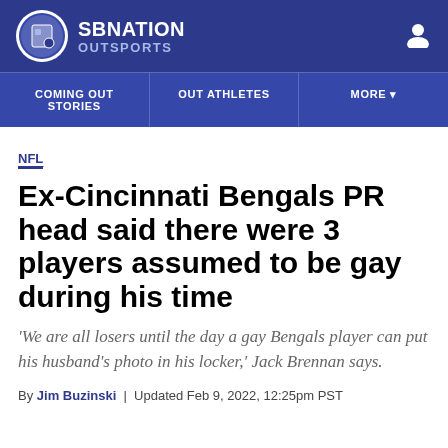SBNATION OUTSPORTS
COMING OUT STORIES | OUT ATHLETES | MORE
NFL
Ex-Cincinnati Bengals PR head said there were 3 players assumed to be gay during his time
'We are all losers until the day a gay Bengals player can put his husband's photo in his locker,' Jack Brennan says.
By Jim Buzinski | Updated Feb 9, 2022, 12:25pm PST